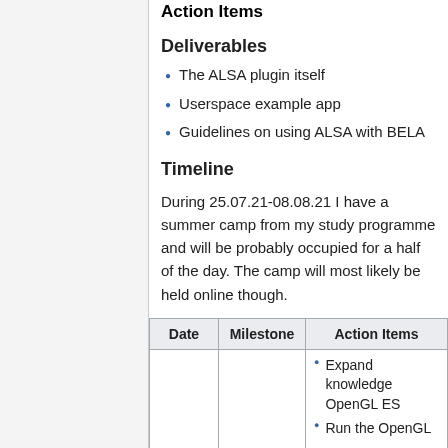Action Items
Deliverables
The ALSA plugin itself
Userspace example app
Guidelines on using ALSA with BELA
Timeline
During 25.07.21-08.08.21 I have a summer camp from my study programme and will be probably occupied for a half of the day. The camp will most likely be held online though.
| Date | Milestone | Action Items |
| --- | --- | --- |
|  |  | Expand knowledge OpenGL ES
Run the OpenGL |